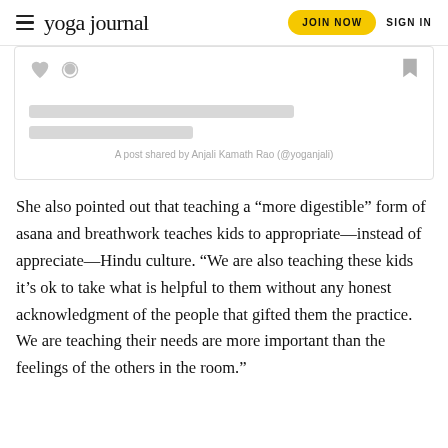yoga journal | JOIN NOW | SIGN IN
[Figure (screenshot): Embedded social media post placeholder card with heart icon, comment icon, bookmark icon, two skeleton loading bars, and caption text: A post shared by Anjali Kamath Rao (@yoganjali)]
A post shared by Anjali Kamath Rao (@yoganjali)
She also pointed out that teaching a “more digestible” form of asana and breathwork teaches kids to appropriate—instead of appreciate—Hindu culture. “We are also teaching these kids it’s ok to take what is helpful to them without any honest acknowledgment of the people that gifted them the practice. We are teaching their needs are more important than the feelings of the others in the room.”